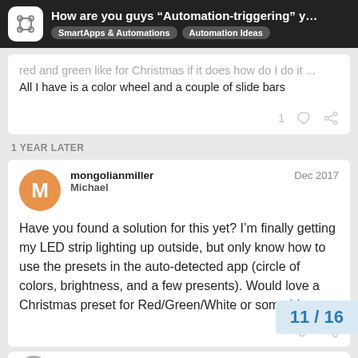How are you guys "Automation-triggering" y… | SmartApps & Automations | Automation Ideas
red and green like for Christmas if it does how do I do it ... All I have is a color wheel and a couple of slide bars
1 YEAR LATER
mongolianmiller Michael — Dec 2017
Have you found a solution for this yet? I'm finally getting my LED strip lighting up outside, but only know how to use the presets in the auto-detected app (circle of colors, brightness, and a few presents). Would love a Christmas preset for Red/Green/White or something.
11 / 16